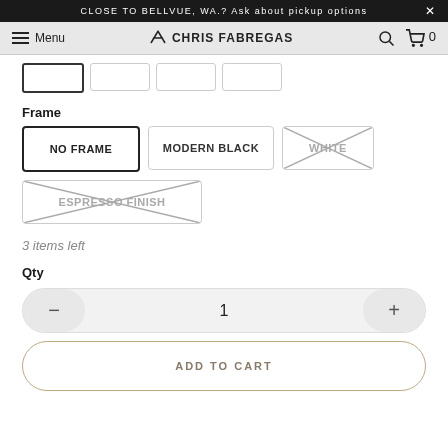CLOSE TO BELLVUE, WA.? Ask about pickup options  X
Menu  CHRIS FABREGAS  [search] [cart] 0
Frame
NO FRAME  MODERN BLACK  WHITE (unavailable)  ESPRESSO FINISH (unavailable)
3 items left
Qty
1
ADD TO CART